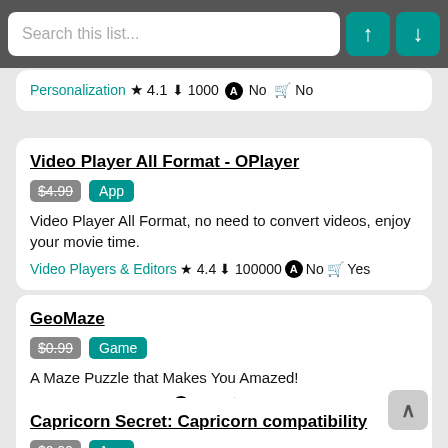Search this list...
Personalization ★ 4.1 ⬇ 1000 🅐 No 🛒 No
Video Player All Format - OPlayer
$4.99  App
Video Player All Format, no need to convert videos, enjoy your movie time.
Video Players & Editors ★ 4.4 ⬇ 100000 🅐 No 🛒 Yes
GeoMaze
$0.99  Game
A Maze Puzzle that Makes You Amazed!
Puzzle ★ 3.9 ⬇ 10000 🅐 Yes 🛒 Yes
Capricorn Secret: Capricorn compatibility
$0.99  App
How to get perfect love, friend & career? A witch tells